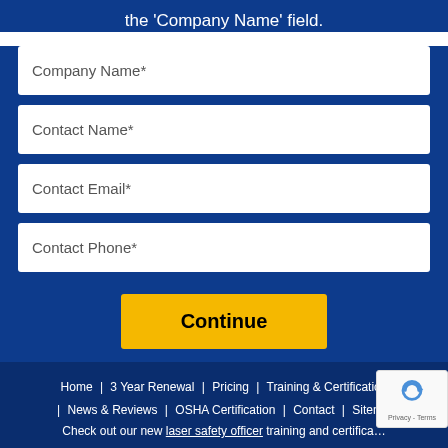the 'Company Name' field.
Company Name*
Contact Name*
Contact Email*
Contact Phone*
Continue
Home | 3 Year Renewal | Pricing | Training & Certification | News & Reviews | OSHA Certification | Contact | Sitemap
Check out our new laser safety officer training and certification